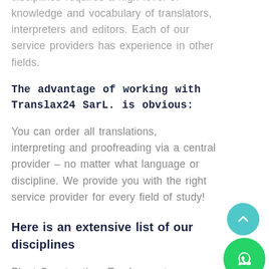disciplines requires a high level of knowledge and vocabulary of translators, interpreters and editors. Each of our service providers has experience in other fields.
The advantage of working with Translax24 SarL. is obvious:
You can order all translations, interpreting and proofreading via a central provider – no matter what language or discipline. We provide you with the right service provider for every field of study!
Here is an extensive list of our disciplines
Plant Construction, Employment Services, Architecture, Astrology, Audio Engineering, Auction, Foreign Trade,